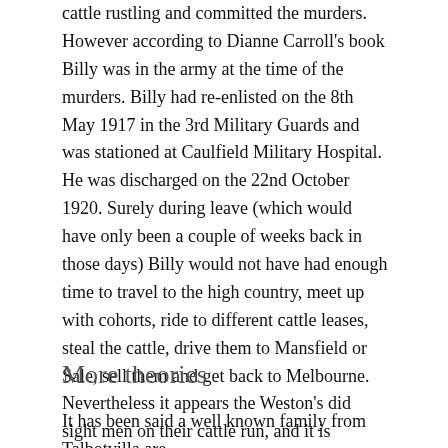cattle rustling and committed the murders. However according to Dianne Carroll's book Billy was in the army at the time of the murders. Billy had re-enlisted on the 8th May 1917 in the 3rd Military Guards and was stationed at Caulfield Military Hospital. He was discharged on the 22nd October 1920. Surely during leave (which would have only been a couple of weeks back in those days) Billy would not have had enough time to travel to the high country, meet up with cohorts, ride to different cattle leases, steal the cattle, drive them to Mansfield or Sale, sell them and get back to Melbourne. Nevertheless it appears the Weston's did sight men on their cattle run, and it is possible whoever they were, they may have involvement in the murders.
More theories
It has been said a well known family from Talbotvilla are